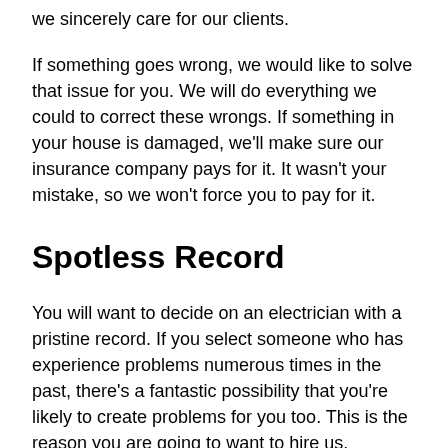we sincerely care for our clients.
If something goes wrong, we would like to solve that issue for you. We will do everything we could to correct these wrongs. If something in your house is damaged, we'll make sure our insurance company pays for it. It wasn't your mistake, so we won't force you to pay for it.
Spotless Record
You will want to decide on an electrician with a pristine record. If you select someone who has experience problems numerous times in the past, there's a fantastic possibility that you're likely to create problems for you too. This is the reason you are going to want to hire us.